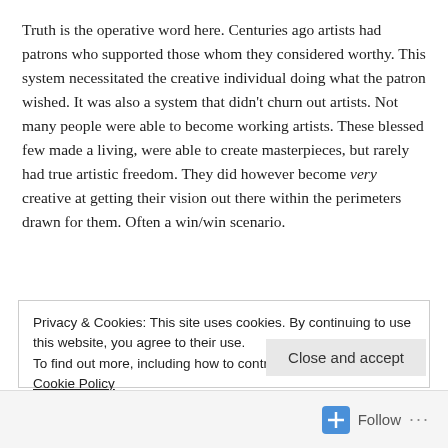Truth is the operative word here. Centuries ago artists had patrons who supported those whom they considered worthy. This system necessitated the creative individual doing what the patron wished. It was also a system that didn't churn out artists. Not many people were able to become working artists. These blessed few made a living, were able to create masterpieces, but rarely had true artistic freedom. They did however become very creative at getting their vision out there within the perimeters drawn for them. Often a win/win scenario.
Privacy & Cookies: This site uses cookies. By continuing to use this website, you agree to their use.
To find out more, including how to control cookies, see here: Cookie Policy
Close and accept
Follow